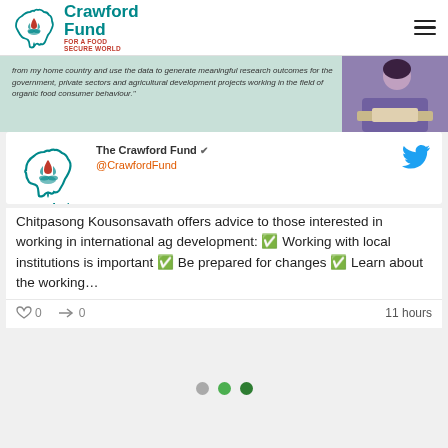[Figure (logo): Crawford Fund logo - Australia map silhouette with leaf/flame icon, teal text reading Crawford Fund for a Food Secure World]
[Figure (photo): Partially visible quote banner with italic text about research outcomes for government and agricultural development, alongside photo of a student studying]
[Figure (screenshot): Twitter card embed showing The Crawford Fund @CrawfordFund with Crawford Fund logo and Twitter bird icon]
Chitpasong Kousonsavath offers advice to those interested in working in international ag development: ✅ Working with local institutions is important ✅ Be prepared for changes ✅ Learn about the working…
♡ 0   ➜ 0   11 hours